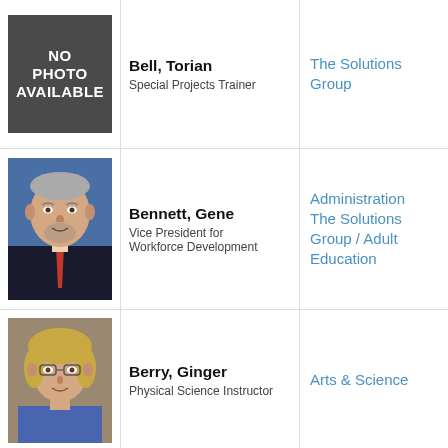[Figure (photo): No photo available placeholder box (dark gray background with white text)]
Bell, Torian
Special Projects Trainer
The Solutions Group
[Figure (photo): Professional headshot of Gene Bennett, older male with gray hair, dark suit and red tie]
Bennett, Gene
Vice President for Workforce Development
Administration / The Solutions Group / Adult Education
[Figure (photo): Professional headshot of Ginger Berry, woman with blonde hair and glasses, blue shirt]
Berry, Ginger
Physical Science Instructor
Arts & Sciences